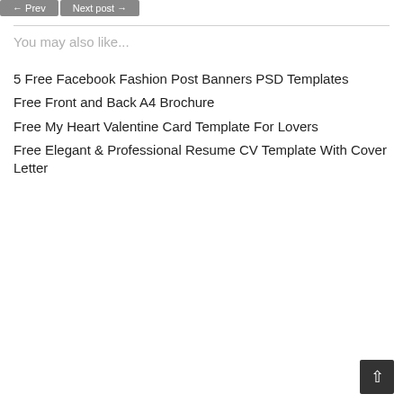You may also like...
5 Free Facebook Fashion Post Banners PSD Templates
Free Front and Back A4 Brochure
Free My Heart Valentine Card Template For Lovers
Free Elegant & Professional Resume CV Template With Cover Letter